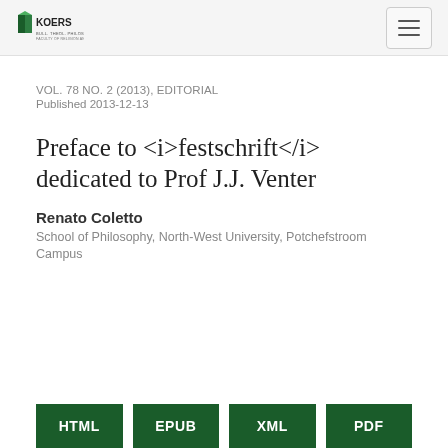KOERS
VOL. 78 NO. 2 (2013), EDITORIAL
Published 2013-12-13
Preface to <i>festschrift</i> dedicated to Prof J.J. Venter
Renato Coletto
School of Philosophy, North-West University, Potchefstroom Campus
HTML  EPUB  XML  PDF